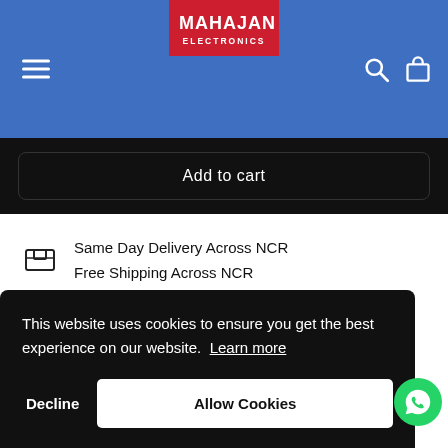[Figure (screenshot): Mahajan Electronics website header with blue background, hamburger menu icon on left, red logo box in center showing MAHAJAN ELECTRONICS, search and bag icons on right]
Add to cart
Same Day Delivery Across NCR
Free Shipping Across NCR
Ask a question   Share
This website uses cookies to ensure you get the best experience on our website. Learn more
Decline
Allow Cookies